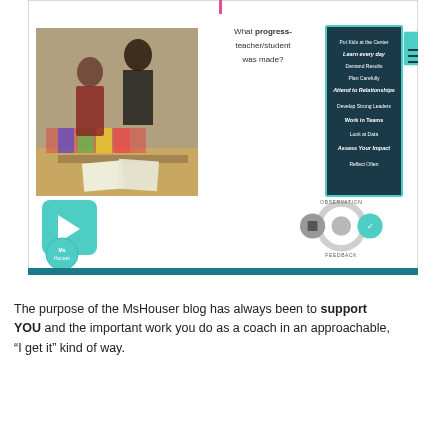[Figure (screenshot): Presentation slide showing a classroom photo of teacher and student, the question 'What progress- teacher/student was made?', a dark teal box with instructional principles list, a document icon, a play button, an observation cycle diagram, and a logo circle. The slide has a teal bottom bar.]
The purpose of the MsHouser blog has always been to support YOU and the important work you do as a coach in an approachable, “I get it” kind of way.